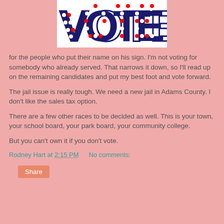[Figure (illustration): VOTE text logo made of dots in red, white, and navy blue on a white background]
for the people who put their name on his sign. I'm not voting for somebody who already served. That narrows it down, so I'll read up on the remaining candidates and put my best foot and vote forward.
The jail issue is really tough. We need a new jail in Adams County. I don't like the sales tax option.
There are a few other races to be decided as well. This is your town, your school board, your park board, your community college.
But you can't own it if you don't vote.
Rodney Hart at 2:15 PM    No comments:
Share